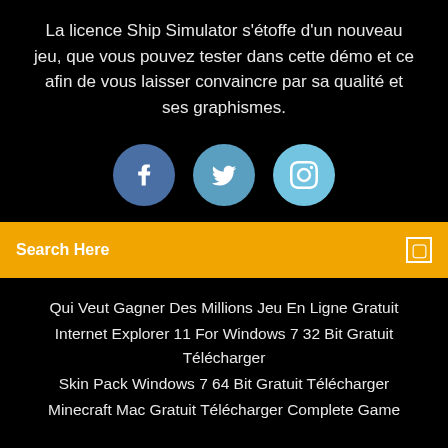La licence Ship Simulator s'étoffe d'un nouveau jeu, que vous pouvez tester dans cette démo et ce afin de vous laisser convaincre par sa qualité et ses graphismes.
[Figure (infographic): Three social media icons: Facebook (dark blue circle), Twitter (medium blue circle), Instagram (light blue circle)]
Search Here
Qui Veut Gagner Des Millions Jeu En Ligne Gratuit
Internet Explorer 11 For Windows 7 32 Bit Gratuit Télécharger
Skin Pack Windows 7 64 Bit Gratuit Télécharger
Minecraft Mac Gratuit Télécharger Complete Game
Copyright ©2022 All rights reserved